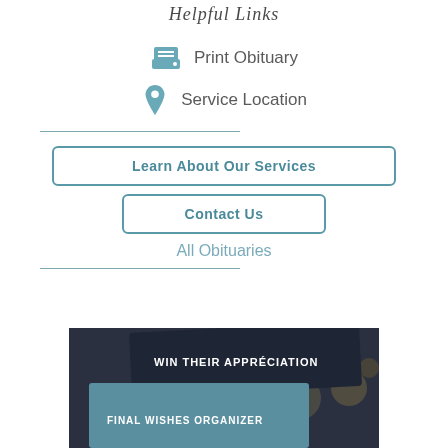Helpful Links
Print Obituary
Service Location
Learn About Our Services
Contact Us
All Obituaries
[Figure (photo): Booklet showing 'WIN THEIR APPRECIATION' and 'FINAL WISHES ORGANIZER' text on dark background with bokeh lighting]